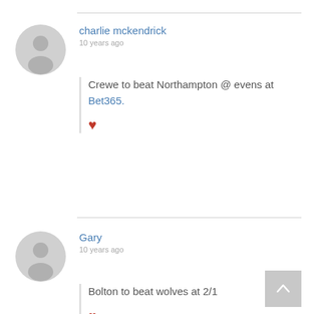[Figure (illustration): Grey circular avatar placeholder with user silhouette icon, first comment]
charlie mckendrick
10 years ago
Crewe to beat Northampton @ evens at Bet365.
[Figure (illustration): Red heart icon / like button]
[Figure (illustration): Grey circular avatar placeholder with user silhouette icon, second comment]
Gary
10 years ago
Bolton to beat wolves at 2/1
[Figure (illustration): Red heart icon / like button]
[Figure (illustration): Grey back-to-top button with upward chevron]